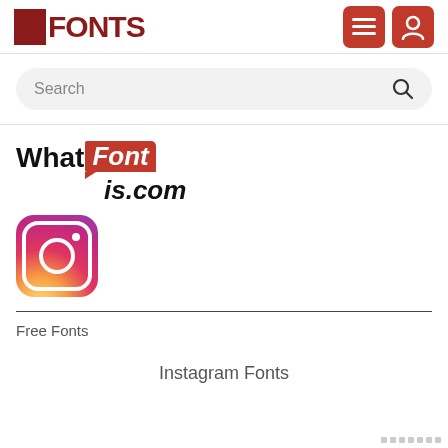FONTS
Search
[Figure (logo): WhatFontIs.com logo with red badge font label]
[Figure (logo): Instagram app icon with gradient background]
Free Fonts
Instagram Fonts